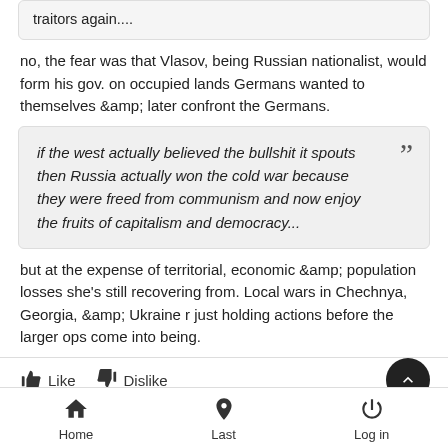traitors again....
no, the fear was that Vlasov, being Russian nationalist, would form his gov. on occupied lands Germans wanted to themselves &amp; later confront the Germans.
if the west actually believed the bullshit it spouts then Russia actually won the cold war because they were freed from communism and now enjoy the fruits of capitalism and democracy...
but at the expense of territorial, economic &amp; population losses she's still recovering from. Local wars in Chechnya, Georgia, &amp; Ukraine r just holding actions before the larger ops come into being.
Home  Last  Log in